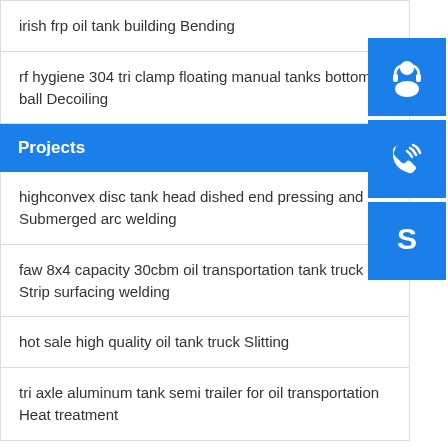irish frp oil tank building Bending
rf hygiene 304 tri clamp floating manual tanks bottom ball Decoiling
Projects
highconvex disc tank head dished end pressing and Submerged arc welding
faw 8x4 capacity 30cbm oil transportation tank truck Strip surfacing welding
hot sale high quality oil tank truck Slitting
tri axle aluminum tank semi trailer for oil transportation Heat treatment
[Figure (illustration): Three blue icon buttons on the right side: headset/support icon, phone/call icon, and Skype icon]